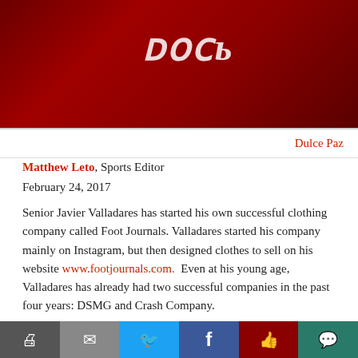[Figure (photo): Partial photo of a red garment/clothing item with white stylized text lettering visible at the top]
Dulce Paz
Matthew Leto, Sports Editor
February 24, 2017
Senior Javier Valladares has started his own successful clothing company called Foot Journals. Valladares started his company mainly on Instagram, but then designed clothes to sell on his website www.footjournals.com.  Even at his young age, Valladares has already had two successful companies in the past four years: DSMG and Crash Company.
Valladares' first company was Dope Sound Music Group